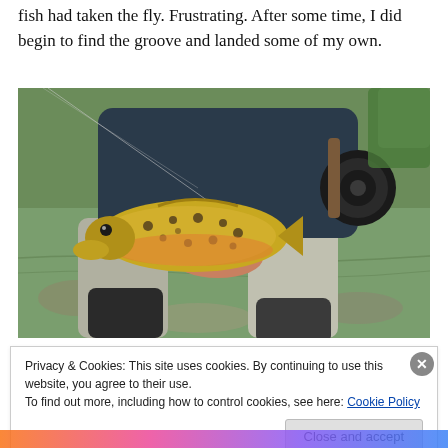fish had taken the fly. Frustrating. After some time, I did begin to find the groove and landed some of my own.
[Figure (photo): Person holding a brown trout fish near a stream, with a fly fishing rod visible in the background. The angler is wearing waders and standing in or near water.]
Privacy & Cookies: This site uses cookies. By continuing to use this website, you agree to their use.
To find out more, including how to control cookies, see here: Cookie Policy
Close and accept